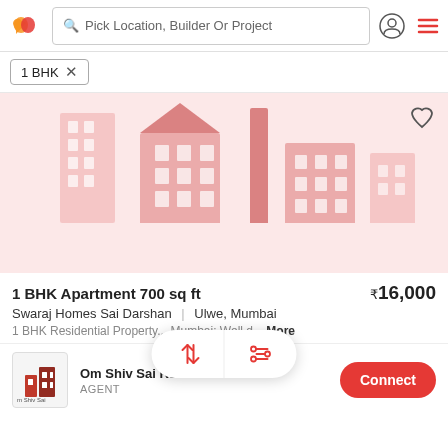Pick Location, Builder Or Project
1 BHK ×
[Figure (illustration): Real estate app listing placeholder showing stylized pink buildings with text 'No photo available for this property' and 'Request Photos' link, with a heart/bookmark icon in top right]
1 BHK Apartment 700 sq ft
₹16,000
Swaraj Homes Sai Darshan | Ulwe, Mumbai
1 BHK Residential Property... Mumbai: Well d... More
Om Shiv Sai Real Esta...
AGENT
Connect